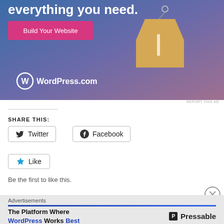[Figure (illustration): WordPress.com advertisement banner with gradient blue-purple background, price tag illustration, 'Build Your Website' pink button, and WordPress.com logo at bottom left. Text reads 'everything you need.' at the top.]
REPORT THIS AD
SHARE THIS:
Twitter
Facebook
Like
Be the first to like this.
Advertisements
[Figure (illustration): Pressable advertisement with text 'The Platform Where WordPress Works Best' with WordPress and Best in blue, and Pressable logo on right.]